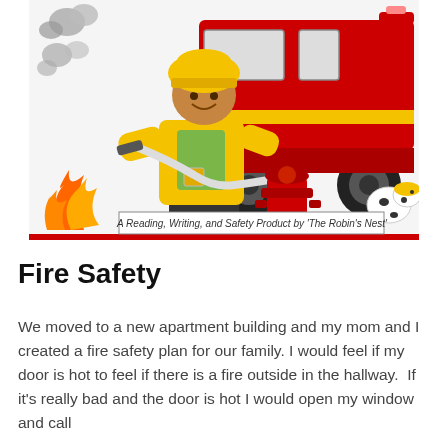[Figure (illustration): Cartoon illustration of a child firefighter in yellow gear holding a hose, spraying water at flames on the left. A large red fire truck is in the background, with a red fire hydrant and a dalmatian dog. Smoke clouds float in the upper left. A caption banner reads: A Reading, Writing, and Safety Product by 'The Robin's Nest']
Fire Safety
We moved to a new apartment building and my mom and I created a fire safety plan for our family. I would feel if my door is hot to feel if there is a fire outside in the hallway.  If it's really bad and the door is hot I would open my window and call